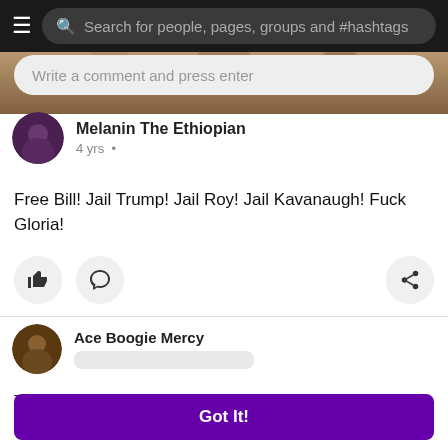Search for people, pages, groups and #hashtags
[Figure (screenshot): Partial cropped photo strip showing faces/people in background]
Write a comment and press enter
Melanin The Ethiopian
4 yrs ·
Free Bill! Jail Trump! Jail Roy! Jail Kavanaugh! Fuck Gloria!
Ace Boogie Mercy
This website uses cookies to ensure you get the best experience. By using this website, you agree to our Cookie Policy Learn More
Got It!